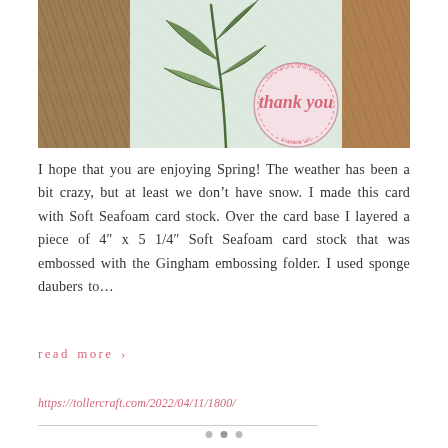[Figure (photo): A handmade greeting card with Soft Seafoam card stock embossed with Gingham pattern, featuring green botanical leaves and a pink circular 'thank you' badge, set against a wooden background]
I hope that you are enjoying Spring! The weather has been a bit crazy, but at least we don't have snow. I made this card with Soft Seafoam card stock. Over the card base I layered a piece of 4″ x 5 1/4″ Soft Seafoam card stock that was embossed with the Gingham embossing folder. I used sponge daubers to…
read more ›
https://tollercraft.com/2022/04/11/1800/